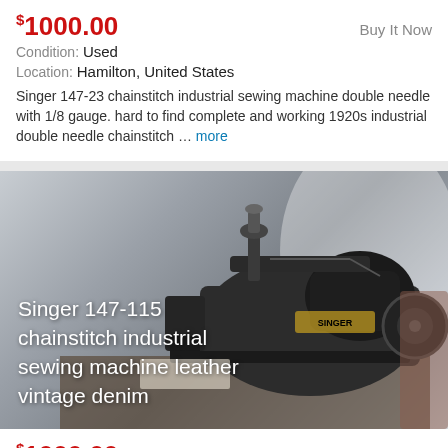$1000.00
Buy It Now
Condition: Used
Location: Hamilton, United States
Singer 147-23 chainstitch industrial sewing machine double needle with 1/8 gauge. hard to find complete and working 1920s industrial double needle chainstitch ... more
[Figure (photo): Singer 147-115 chainstitch industrial sewing machine leather vintage denim — photo of a vintage black Singer industrial sewing machine on a table with text overlay]
$1000.00
Buy It Now
Condition: Used